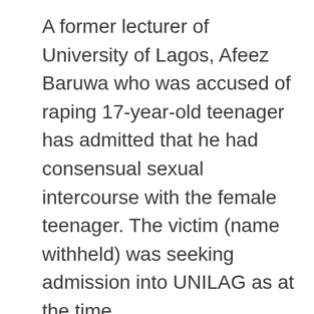A former lecturer of University of Lagos, Afeez Baruwa who was accused of raping 17-year-old teenager has admitted that he had consensual sexual intercourse with the female teenager. The victim (name withheld) was seeking admission into UNILAG as at the time the incident occurred to...